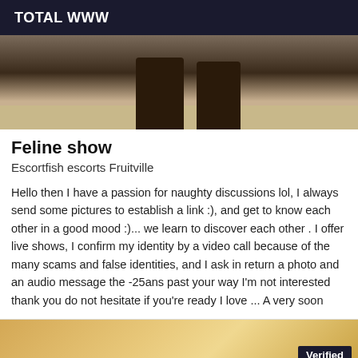TOTAL WWW
[Figure (photo): Photo showing legs in dark boots on a light wood floor, cropped view from above]
Feline show
Escortfish escorts Fruitville
Hello then I have a passion for naughty discussions lol, I always send some pictures to establish a link :), and get to know each other in a good mood :)... we learn to discover each other . I offer live shows, I confirm my identity by a video call because of the many scams and false identities, and I ask in return a photo and an audio message the -25ans past your way I'm not interested thank you do not hesitate if you're ready I love ... A very soon
[Figure (photo): Partial photo showing a blonde person, with a 'Verified' badge in the bottom right corner]